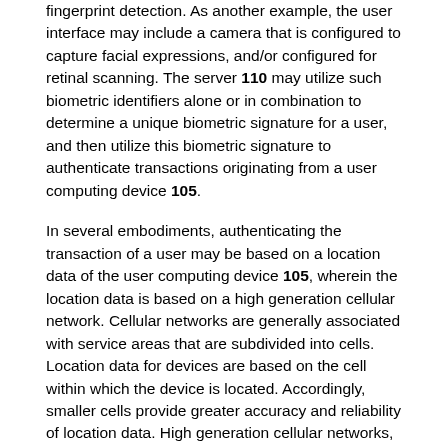fingerprint detection. As another example, the user interface may include a camera that is configured to capture facial expressions, and/or configured for retinal scanning. The server 110 may utilize such biometric identifiers alone or in combination to determine a unique biometric signature for a user, and then utilize this biometric signature to authenticate transactions originating from a user computing device 105.
In several embodiments, authenticating the transaction of a user may be based on a location data of the user computing device 105, wherein the location data is based on a high generation cellular network. Cellular networks are generally associated with service areas that are subdivided into cells. Location data for devices are based on the cell within which the device is located. Accordingly, smaller cells provide greater accuracy and reliability of location data. High generation cellular networks, such as a 5G cellular network, may be configured to considerably reduce the cell size, thereby improving accuracy of location data. Accurate location data may be utilized to authenticate the user. For example, mobile phone 103 may utilize location accuracy to determine that the user is associated with a vehicle, and that such vehicle is at user's